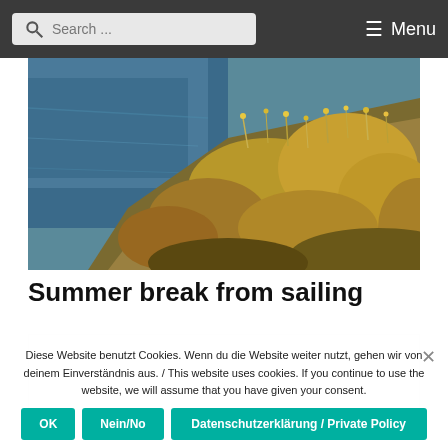Search ... Menu
[Figure (photo): Coastal scene showing blue ocean water on the left and dry golden-yellow vegetation/shrubs on a hillside on the right.]
Summer break from sailing
Diese Website benutzt Cookies. Wenn du die Website weiter nutzt, gehen wir von deinem Einverständnis aus. / This website uses cookies. If you continue to use the website, we will assume that you have given your consent.